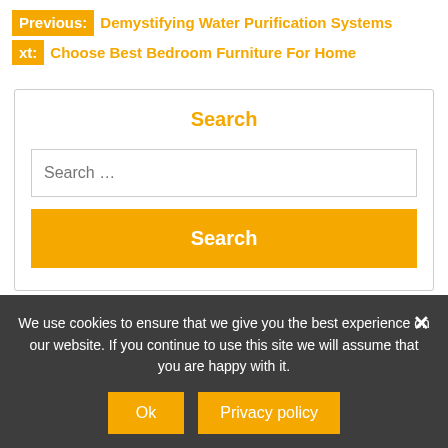Previous: Demystifying Water Purification Systems
Next: Choose Best Bedroom Furniture For Home
Search
Search ...
Search
We use cookies to ensure that we give you the best experience on our website. If you continue to use this site we will assume that you are happy with it.
Ok
Privacy policy